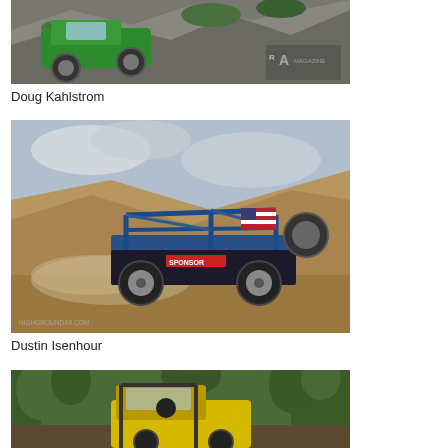[Figure (photo): Green off-road truck climbing over large rocks, with watermark logo visible in upper right corner]
Doug Kahlstrom
[Figure (photo): Blue tube-frame off-road buggy/ultra4 racing vehicle with American flag, kicking up dust on a dirt hillside course. Website watermark 'HIGHGROUNDX4.COM' visible at bottom left.]
Dustin Isenhour
[Figure (photo): Yellow off-road vehicle partially visible in wooded/forest setting, partially cropped at bottom of page]